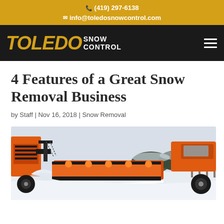(419) 297-6138 | info@toledosnowcontrol.com
[Figure (logo): Toledo Snow Control logo with golden TOLEDO text and white SNOW CONTROL text on black background, with hamburger menu icon]
4 Features of a Great Snow Removal Business
by Staff | Nov 16, 2018 | Snow Removal
[Figure (photo): Orange snow plow truck with black blade clearing snow, close-up view of plow equipment]